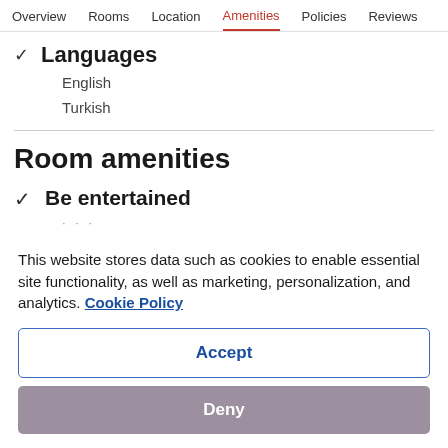Overview  Rooms  Location  Amenities  Policies  Reviews
✓ Languages
English
Turkish
Room amenities
✓ Be entertained
This website stores data such as cookies to enable essential site functionality, as well as marketing, personalization, and analytics. Cookie Policy
Accept
Deny